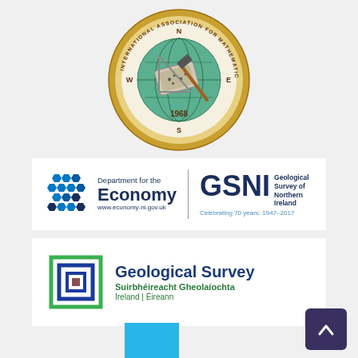[Figure (logo): IAMG logo - International Association for Mathematical Geosciences, circular medallion with compass, geological tools, globe, founded 1968]
[Figure (logo): Department for the Economy | GSNI Geological Survey of Northern Ireland. Celebrating 70 years: 1947-2017. Logo includes hexagonal pattern and website www.economy-ni.gov.uk]
[Figure (logo): Geological Survey Ireland / Suirbhéireacht Gheolaíochta Ireland | Éireann. Logo with nested square frames in blue and green.]
[Figure (other): Partial blue rectangle visible at bottom of page, likely part of another logo cut off]